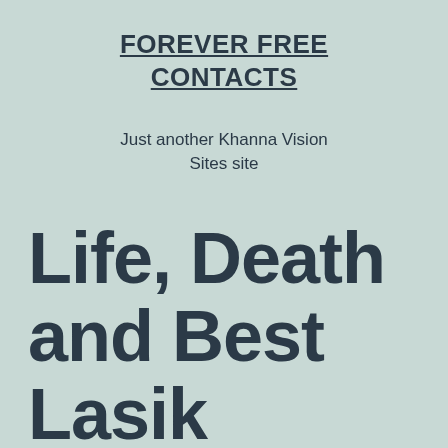FOREVER FREE CONTACTS
Just another Khanna Vision Sites site
Life, Death and Best Lasik